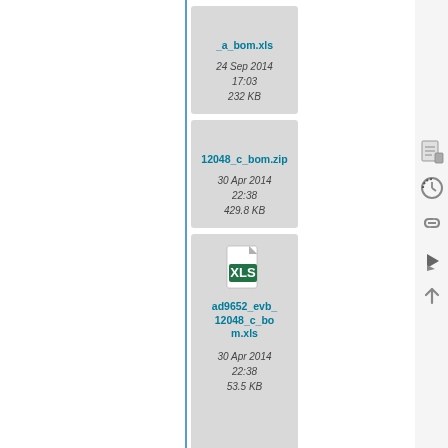[Figure (screenshot): File listing page showing download cards for engineering files: XLS BOM files and a ZIP file for AD9652 evaluation board components. Each card shows a file icon, filename link, date, and file size.]
_a_bom.xls
24 Sep 2014 17:03
232 KB
12048_c_bom.zip (partial)
30 Apr 2014 22:38
429.8 KB
ad9652_evb_12048_c_bom.xls
30 Apr 2014 22:38
53.5 KB
ad9652customer_spi_controller_files.zip
02 May 2014 15:48
6.8 KB